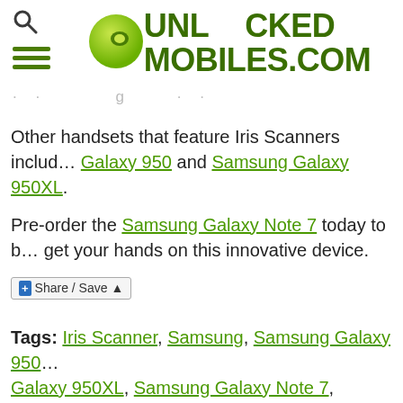UNLOCKED MOBILES.COM
· · · g · ·
Other handsets that feature Iris Scanners include the Samsung Galaxy 950 and Samsung Galaxy 950XL.
Pre-order the Samsung Galaxy Note 7 today to get your hands on this innovative device.
Share / Save
Tags: Iris Scanner, Samsung, Samsung Galaxy 950, Samsung Galaxy 950XL, Samsung Galaxy Note 7, Security
This entry was posted on Friday, August 19th, 2016 at